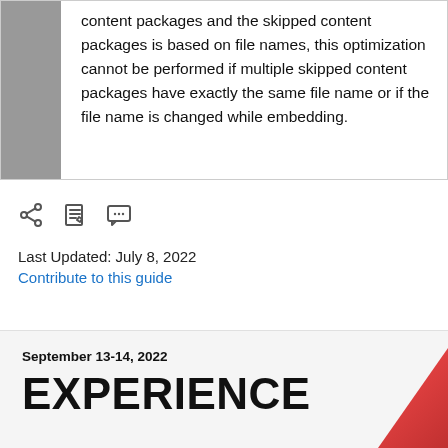content packages and the skipped content packages is based on file names, this optimization cannot be performed if multiple skipped content packages have exactly the same file name or if the file name is changed while embedding.
[Figure (other): Row of three UI icons: share icon, edit/clipboard icon, and comment/chat icon]
Last Updated: July 8, 2022
Contribute to this guide
September 13-14, 2022
EXPERIENCE